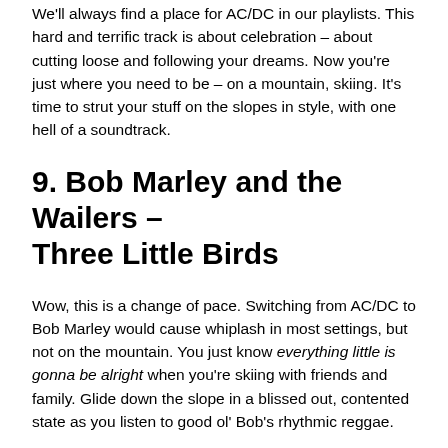We'll always find a place for AC/DC in our playlists. This hard and terrific track is about celebration – about cutting loose and following your dreams. Now you're just where you need to be – on a mountain, skiing. It's time to strut your stuff on the slopes in style, with one hell of a soundtrack.
9. Bob Marley and the Wailers – Three Little Birds
Wow, this is a change of pace. Switching from AC/DC to Bob Marley would cause whiplash in most settings, but not on the mountain. You just know everything little is gonna be alright when you're skiing with friends and family. Glide down the slope in a blissed out, contented state as you listen to good ol' Bob's rhythmic reggae.
10. Fleetwood Mac – Go Your Own